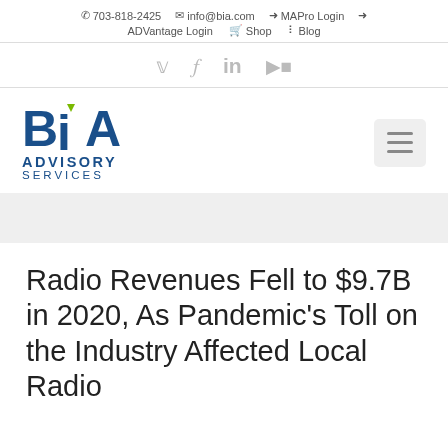703-818-2425   info@bia.com   MAPro Login   ADVantage Login   Shop   Blog
[Figure (logo): BIA Advisory Services logo with social media icons (Twitter, Facebook, LinkedIn, YouTube)]
[Figure (logo): BIA Advisory Services wordmark logo with hamburger menu button]
Radio Revenues Fell to $9.7B in 2020, As Pandemic’s Toll on the Industry Affected Local Radio